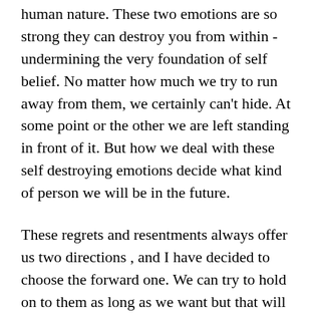human nature. These two emotions are so strong they can destroy you from within - undermining the very foundation of self belief. No matter how much we try to run away from them, we certainly can't hide. At some point or the other we are left standing in front of it. But how we deal with these self destroying emotions decide what kind of person we will be in the future.
These regrets and resentments always offer us two directions , and I have decided to choose the forward one. We can try to hold on to them as long as we want but that will only induce more anger and even more hatred. Letting go is probably not an easy option, but it is an effective first step. A first step to being a better person.